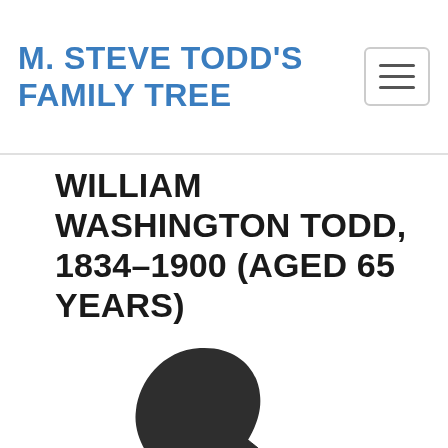M. STEVE TODD'S FAMILY TREE
WILLIAM WASHINGTON TODD, 1834–1900 (AGED 65 YEARS)
[Figure (illustration): Silhouette placeholder image of a person's head and shoulders, facing slightly right, in dark charcoal/black color on white background.]